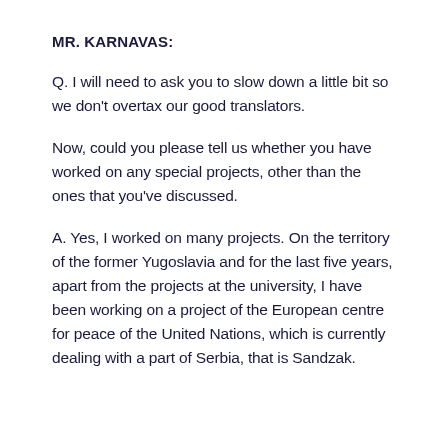MR. KARNAVAS:
Q. I will need to ask you to slow down a little bit so we don't overtax our good translators.
Now, could you please tell us whether you have worked on any special projects, other than the ones that you've discussed.
A. Yes, I worked on many projects. On the territory of the former Yugoslavia and for the last five years, apart from the projects at the university, I have been working on a project of the European centre for peace of the United Nations, which is currently dealing with a part of Serbia, that is Sandzak.